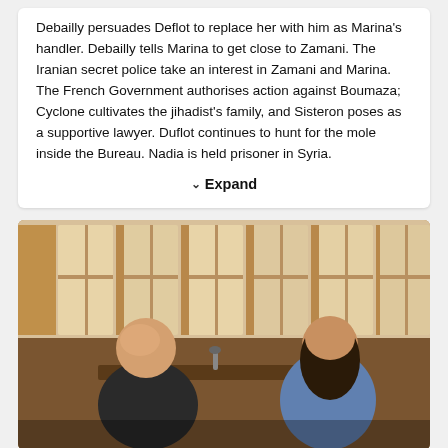Debailly persuades Deflot to replace her with him as Marina's handler. Debailly tells Marina to get close to Zamani. The Iranian secret police take an interest in Zamani and Marina. The French Government authorises action against Boumaza; Cyclone cultivates the jihadist's family, and Sisteron poses as a supportive lawyer. Duflot continues to hunt for the mole inside the Bureau. Nadia is held prisoner in Syria.
Expand
[Figure (photo): A still from a TV show or film showing two people seated at a table in conversation. On the left is an older bald man in a dark suit. On the right is a younger person with long dark hair wearing a blue top. The setting appears to be a room with large windows with shutters in a warm sepia-toned light.]
Videos   Images   Changes   Report